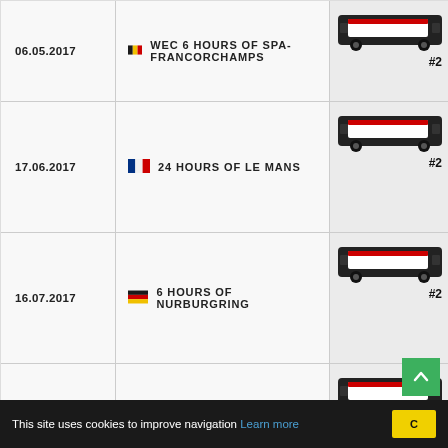| Date | Event | Car |
| --- | --- | --- |
| 06.05.2017 | WEC 6 HOURS OF SPA-FRANCORCHAMPS | #2 |
| 17.06.2017 | 24 HOURS OF LE MANS | #2 |
| 16.07.2017 | 6 HOURS OF NURBURGRING | #2 |
| 03.09.2017 | 6 HOURS OF MEXICO | #2 |
This site uses cookies to improve navigation Learn more